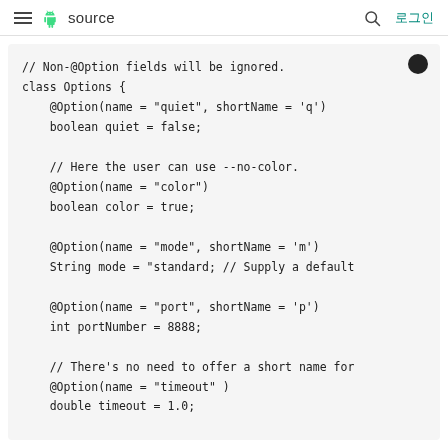≡  source  🔍  로그인
[Figure (screenshot): Code block showing Java class Options with @Option annotations for quiet, color, mode, port, and timeout fields on a light gray background with a brightness toggle button in the top-right corner.]